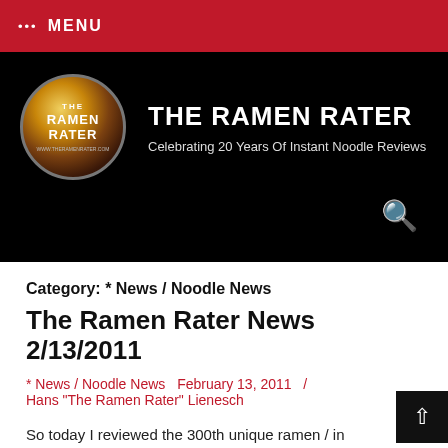••• MENU
[Figure (logo): The Ramen Rater circular logo with site title and subtitle: THE RAMEN RATER - Celebrating 20 Years Of Instant Noodle Reviews]
Category: * News / Noodle News
The Ramen Rater News 2/13/2011
* News / Noodle News     February 13, 2011  /
Hans "The Ramen Rater" Lienesch
So today I reviewed the 300th unique ramen / in